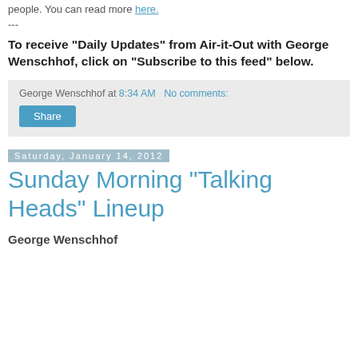people. You can read more here.
---
To receive "Daily Updates" from Air-it-Out with George Wenschhof, click on "Subscribe to this feed" below.
George Wenschhof at 8:34 AM   No comments:
Share
Saturday, January 14, 2012
Sunday Morning "Talking Heads" Lineup
George Wenschhof